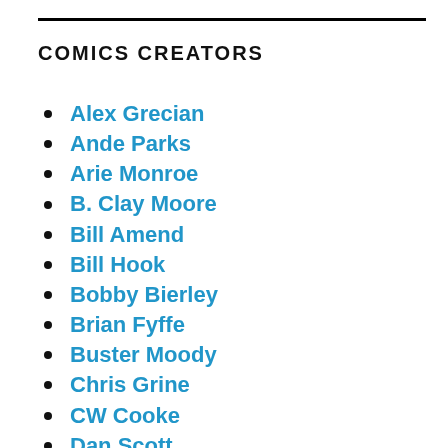COMICS CREATORS
Alex Grecian
Ande Parks
Arie Monroe
B. Clay Moore
Bill Amend
Bill Hook
Bobby Bierley
Brian Fyffe
Buster Moody
Chris Grine
CW Cooke
Dan Scott
Daniel Spottswood